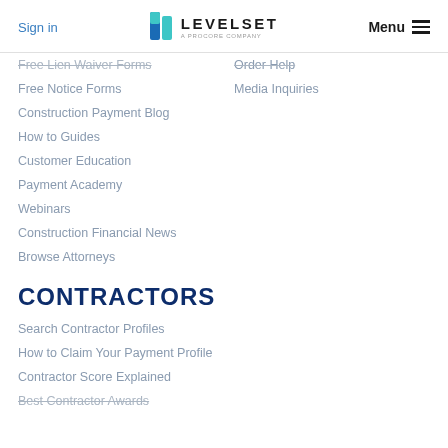Sign in | LEVELSET A PROCORE COMPANY | Menu
Free Lien Waiver Forms
Order Help
Free Notice Forms
Media Inquiries
Construction Payment Blog
How to Guides
Customer Education
Payment Academy
Webinars
Construction Financial News
Browse Attorneys
CONTRACTORS
Search Contractor Profiles
How to Claim Your Payment Profile
Contractor Score Explained
Best Contractor Awards